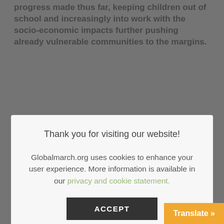progress made thus far, keeping children out of school and increasingly into work with the socio-economic impacts further pushing already vulnerable communities to the margins.
[Figure (screenshot): Cookie consent modal dialog overlay on a webpage. The modal has a white/light gray background and contains the title 'Thank you for visiting our website!', body text about Globalmarch.org using cookies with a link to privacy and cookie statement, and an ACCEPT button.]
and determination to once again lift the scourge of child labour to the forefront across all social, political and development agendas. Even more so, it is an opportunity, and possibly our last chance (having missed the earlier deadline of the Hague Roadmap for Achieving the Elimination of th